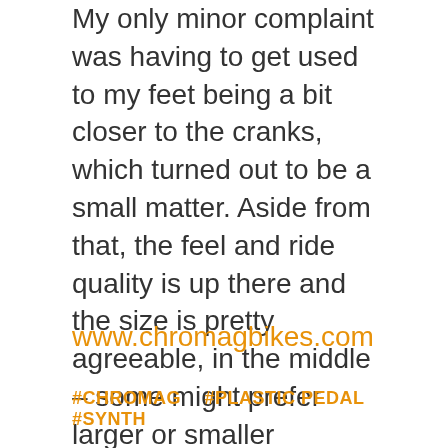My only minor complaint was having to get used to my feet being a bit closer to the cranks, which turned out to be a small matter. Aside from that, the feel and ride quality is up there and the size is pretty agreeable, in the middle – some might prefer larger or smaller offerings, but these are safe. All in all, the Synths are really good pedals for the money, and the availability of spare parts makes for nice insurance.
www.chromagbikes.com
#CHROMAG  #PLASTIC PEDAL  #SYNTH